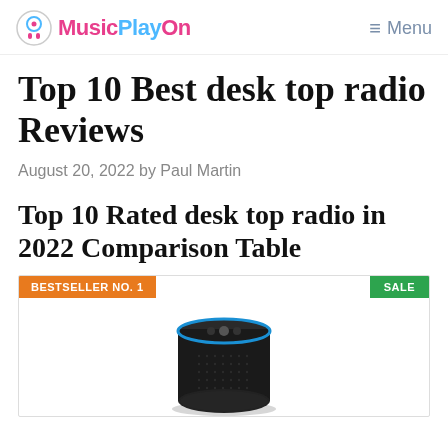MusicPlayOn  Menu
Top 10 Best desk top radio Reviews
August 20, 2022 by Paul Martin
Top 10 Rated desk top radio in 2022 Comparison Table
[Figure (photo): Product card showing an Amazon Echo smart speaker device with BESTSELLER NO. 1 badge in orange on the left and SALE badge in green on the right]